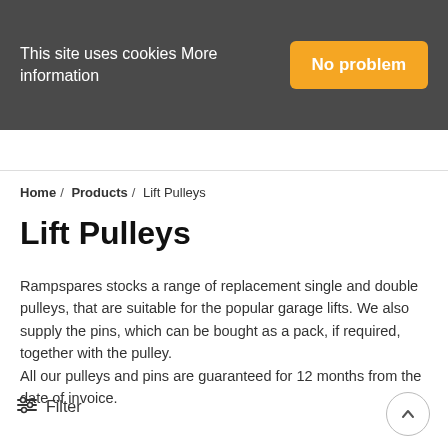This site uses cookies More information | No problem
Home / Products / Lift Pulleys
Lift Pulleys
Rampspares stocks a range of replacement single and double pulleys, that are suitable for the popular garage lifts. We also supply the pins, which can be bought as a pack, if required, together with the pulley.
All our pulleys and pins are guaranteed for 12 months from the date of invoice.
Filter